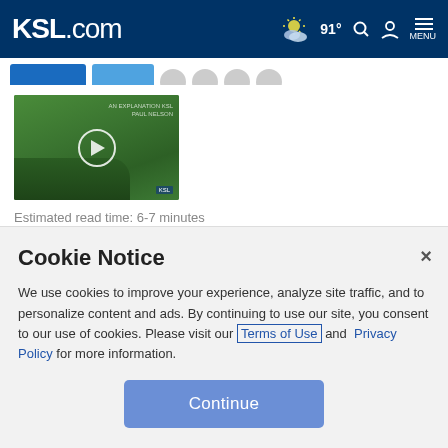KSL.com — 91° weather, search, account, menu
[Figure (screenshot): Video thumbnail showing green algae/water scene with a play button circle in the center and KSL watermark at bottom right]
Estimated read time: 6-7 minutes
Cookie Notice
We use cookies to improve your experience, analyze site traffic, and to personalize content and ads. By continuing to use our site, you consent to our use of cookies. Please visit our Terms of Use and Privacy Policy for more information.
Continue